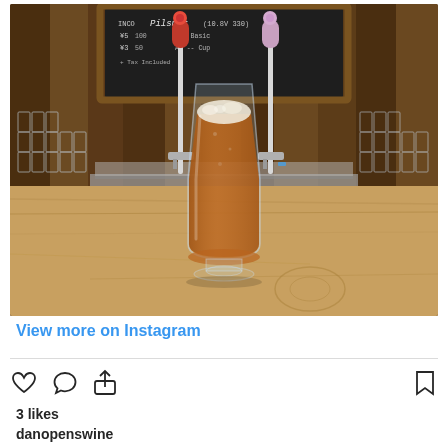[Figure (photo): Instagram post showing a glass of amber beer on a wooden bar counter with two beer taps behind it, shelves of glasses on either side, and a chalkboard menu in the background showing 'Pilsner' and pricing.]
View more on Instagram
3 likes
danopenswine